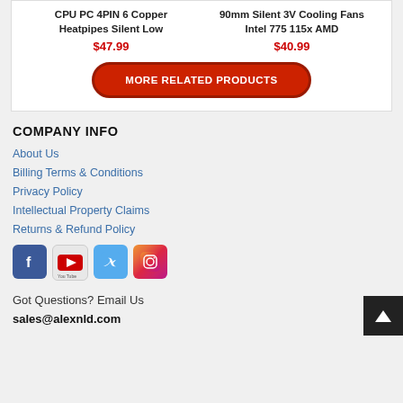CPU PC 4PIN 6 Copper Heatpipes Silent Low
$47.99
90mm Silent 3V Cooling Fans Intel 775 115x AMD
$40.99
MORE RELATED PRODUCTS
COMPANY INFO
About Us
Billing Terms & Conditions
Privacy Policy
Intellectual Property Claims
Returns & Refund Policy
[Figure (illustration): Social media icons: Facebook, YouTube, Twitter, Instagram]
Got Questions? Email Us
sales@alexnld.com